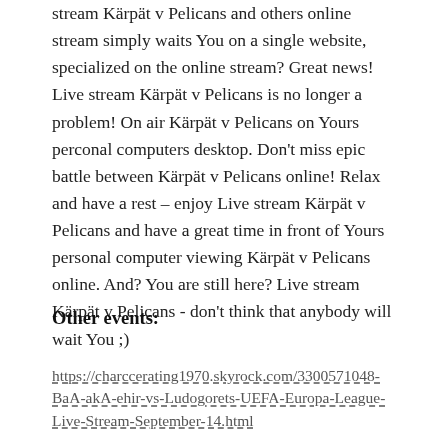stream Kärpät v Pelicans and others online stream simply waits You on a single website, specialized on the online stream? Great news! Live stream Kärpät v Pelicans is no longer a problem! On air Kärpät v Pelicans on Yours perconal computers desktop. Don't miss epic battle between Kärpät v Pelicans online! Relax and have a rest – enjoy Live stream Kärpät v Pelicans and have a great time in front of Yours personal computer viewing Kärpät v Pelicans online. And? You are still here? Live stream Kärpät v Pelicans - don't think that anybody will wait You ;)
Other events:
https://charccerating1970.skyrock.com/3300571048-BaA-akA-ehir-vs-Ludogorets-UEFA-Europa-League-Live-Stream-September-14.html